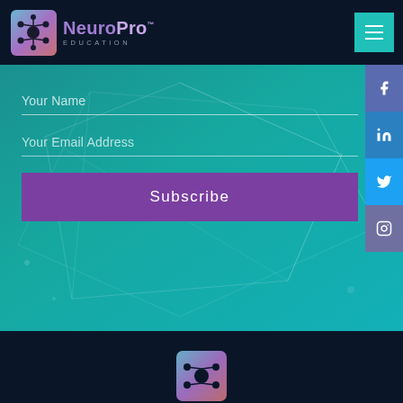[Figure (logo): NeuroPro Education logo with brain/network icon and purple text on dark navy header]
[Figure (screenshot): Website subscription form on teal geometric background with social media icons on right side: Facebook, LinkedIn, Twitter, Instagram]
Your Name
Your Email Address
Subscribe
[Figure (screenshot): Dark navy footer section at bottom of page with partial NeuroPro logo visible]